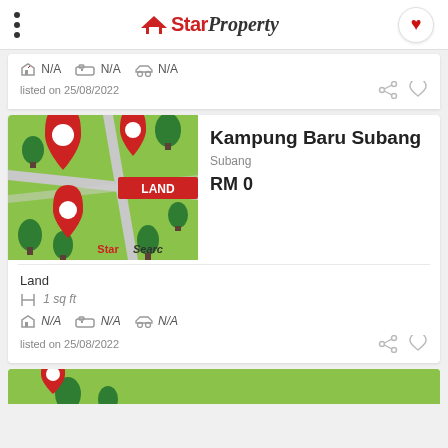StarProperty
N/A  N/A  N/A
listed on 25/08/2022
[Figure (map): Map illustration with red location pins, green trees, roads, and a LAND badge. StarSearc logo visible at bottom right.]
Kampung Baru Subang
Subang
RM 0
Land
1 sq ft
N/A  N/A  N/A
listed on 25/08/2022
[Figure (map): Partial map illustration visible at bottom of page.]